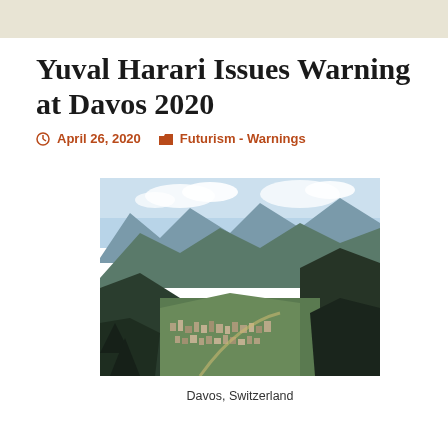Yuval Harari Issues Warning at Davos 2020
April 26, 2020   Futurism - Warnings
[Figure (photo): Aerial view of Davos, Switzerland — a mountain valley town surrounded by alpine peaks and forested slopes, with buildings clustered along the valley floor.]
Davos, Switzerland